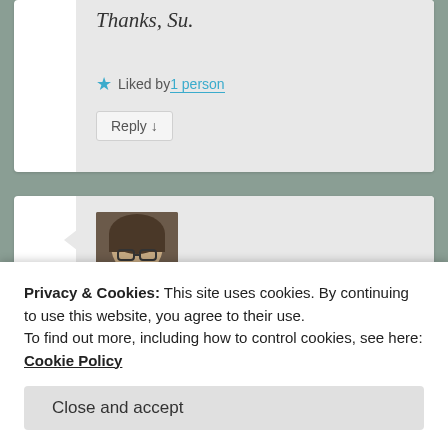Thanks, Su.
★ Liked by 1 person
Reply ↓
[Figure (photo): Avatar photo of a person with glasses and short brown hair]
when you found Milton
Privacy & Cookies: This site uses cookies. By continuing to use this website, you agree to their use.
To find out more, including how to control cookies, see here: Cookie Policy
Close and accept